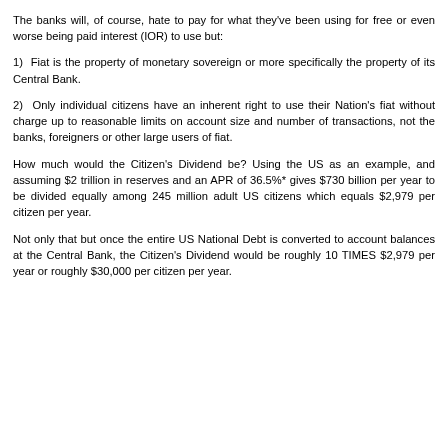The banks will, of course, hate to pay for what they've been using for free or even worse being paid interest (IOR) to use but:
1)  Fiat is the property of monetary sovereign or more specifically the property of its Central Bank.
2)  Only individual citizens have an inherent right to use their Nation's fiat without charge up to reasonable limits on account size and number of transactions, not the banks, foreigners or other large users of fiat.
How much would the Citizen's Dividend be? Using the US as an example, and assuming $2 trillion in reserves and an APR of 36.5%* gives $730 billion per year to be divided equally among 245 million adult US citizens which equals $2,979 per citizen per year.
Not only that but once the entire US National Debt is converted to account balances at the Central Bank, the Citizen's Dividend would be roughly 10 TIMES $2,979 per year or roughly $30,000 per citizen per year.